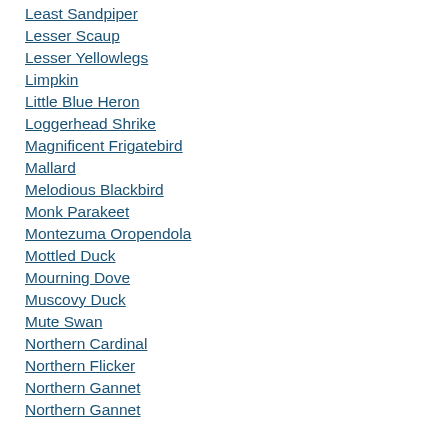Least Sandpiper
Lesser Scaup
Lesser Yellowlegs
Limpkin
Little Blue Heron
Loggerhead Shrike
Magnificent Frigatebird
Mallard
Melodious Blackbird
Monk Parakeet
Montezuma Oropendola
Mottled Duck
Mourning Dove
Muscovy Duck
Mute Swan
Northern Cardinal
Northern Flicker
Northern Gannet
Northern Gannet (partial)